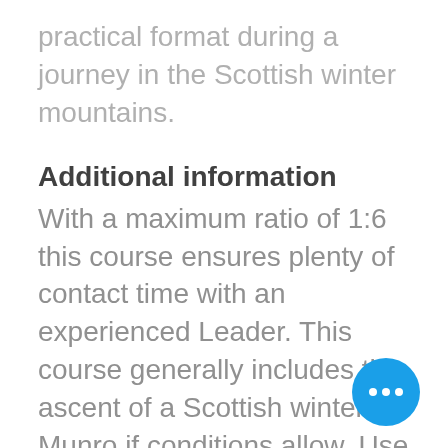practical format during a journey in the Scottish winter mountains.
Additional information
With a maximum ratio of 1:6 this course ensures plenty of contact time with an experienced Leader. This course generally includes the ascent of a Scottish winter Munro if conditions allow. Use of helmet, ice axe and crampons are included however clients will need to source winter B2/B3 boots. We can aid in sourcing these if required.